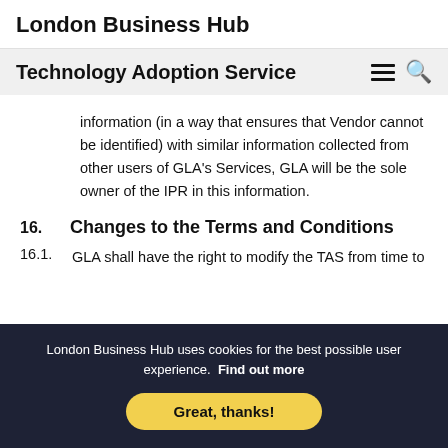London Business Hub
Technology Adoption Service
information (in a way that ensures that Vendor cannot be identified) with similar information collected from other users of GLA's Services, GLA will be the sole owner of the IPR in this information.
16.   Changes to the Terms and Conditions
16.1.   GLA shall have the right to modify the TAS from time to
London Business Hub uses cookies for the best possible user experience.  Find out more
Great, thanks!